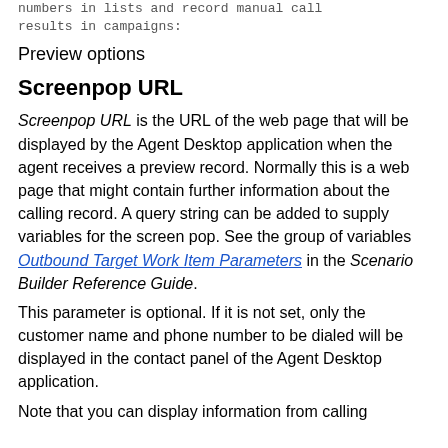numbers in lists and record manual call results in campaigns:
Preview options
Screenpop URL
Screenpop URL is the URL of the web page that will be displayed by the Agent Desktop application when the agent receives a preview record. Normally this is a web page that might contain further information about the calling record. A query string can be added to supply variables for the screen pop. See the group of variables Outbound Target Work Item Parameters in the Scenario Builder Reference Guide.
This parameter is optional. If it is not set, only the customer name and phone number to be dialed will be displayed in the contact panel of the Agent Desktop application.
Note that you can display information from calling